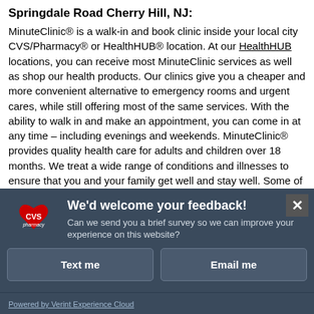Springdale Road Cherry Hill, NJ
MinuteClinic® is a walk-in and book clinic inside your local city CVS/Pharmacy® or HealthHUB® location. At our HealthHUB locations, you can receive most MinuteClinic services as well as shop our health products. Our clinics give you a cheaper and more convenient alternative to emergency rooms and urgent cares, while still offering most of the same services. With the ability to walk in and make an appointment, you can come in at any time – including evenings and weekends. MinuteClinic® provides quality health care for adults and children over 18 months. We treat a wide range of conditions and illnesses to ensure that you and your family get well and stay well. Some of our servic
[Figure (screenshot): CVS Pharmacy feedback modal overlay with dark blue-gray background. Contains CVS Pharmacy logo (red heart with CVS text), title 'We'd welcome your feedback!', subtitle text 'Can we send you a brief survey so we can improve your experience on this website?', two buttons labeled 'Text me' and 'Email me', a close button (X) in top right, and footer 'Powered by Verint Experience Cloud'.]